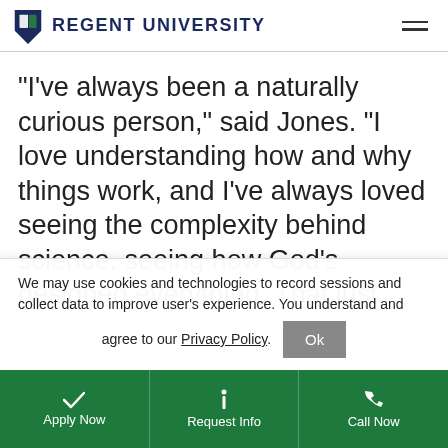Regent University
“I’ve always been a naturally curious person,” said Jones. “I love understanding how and why things work, and I’ve always loved seeing the complexity behind science, seeing how God’s designed everything. That just
We may use cookies and technologies to record sessions and collect data to improve user's experience. You understand and agree to our Privacy Policy.
Apply Now | Request Info | Call Now